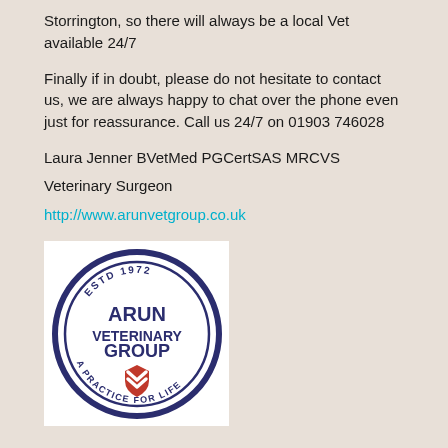Storrington, so there will always be a local Vet available 24/7
Finally if in doubt, please do not hesitate to contact us, we are always happy to chat over the phone even just for reassurance. Call us 24/7 on 01903 746028
Laura Jenner BVetMed PGCertSAS MRCVS
Veterinary Surgeon
http://www.arunvetgroup.co.uk
[Figure (logo): Arun Veterinary Group circular logo. Text reads: ESTD 1972, ARUN VETERINARY GROUP, A PRACTICE FOR LIFE. Dark blue circle border with red shield/chevron icon in center.]